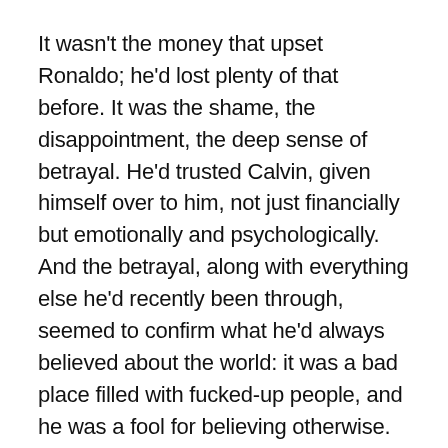It wasn't the money that upset Ronaldo; he'd lost plenty of that before. It was the shame, the disappointment, the deep sense of betrayal. He'd trusted Calvin, given himself over to him, not just financially but emotionally and psychologically. And the betrayal, along with everything else he'd recently been through, seemed to confirm what he'd always believed about the world: it was a bad place filled with fucked-up people, and he was a fool for believing otherwise. “It was my fault,” he said. “I misjudged him. I was dumb.”
My eight-year-old son, Ezra, who, in addition to being crazy for his grandfather, is an astute observer of human behavior, once noted, “Grandpappy just